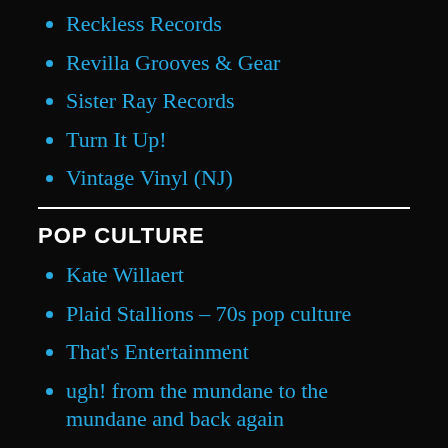Reckless Records
Revilla Grooves & Gear
Sister Ray Records
Turn It Up!
Vintage Vinyl (NJ)
POP CULTURE
Kate Willaert
Plaid Stallions – 70s pop culture
That's Entertainment
ugh! from the mundane to the mundane and back again